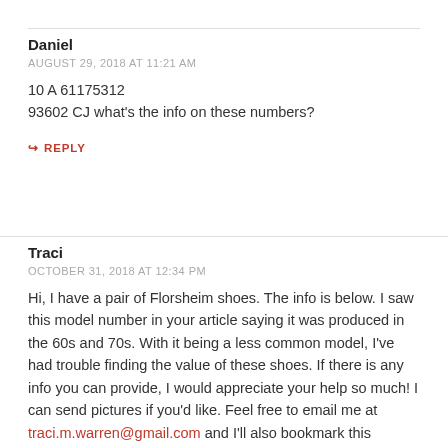Daniel
AUGUST 29, 2018 AT 11:21 AM
10 A 61175312
93602 CJ what's the info on these numbers?
↳ REPLY
Traci
OCTOBER 31, 2018 AT 12:34 PM
Hi, I have a pair of Florsheim shoes. The info is below. I saw this model number in your article saying it was produced in the 60s and 70s. With it being a less common model, I've had trouble finding the value of these shoes. If there is any info you can provide, I would appreciate your help so much! I can send pictures if you'd like. Feel free to email me at traci.m.warren@gmail.com and I'll also bookmark this